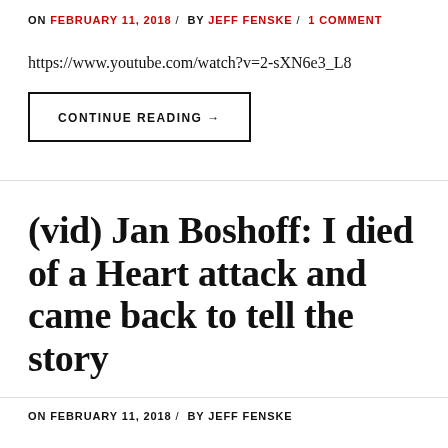ON FEBRUARY 11, 2018 / BY JEFF FENSKE / 1 COMMENT
https://www.youtube.com/watch?v=2-sXN6e3_L8
CONTINUE READING →
(vid) Jan Boshoff: I died of a Heart attack and came back to tell the story
ON FEBRUARY 11, 2018 / BY JEFF FENSKE